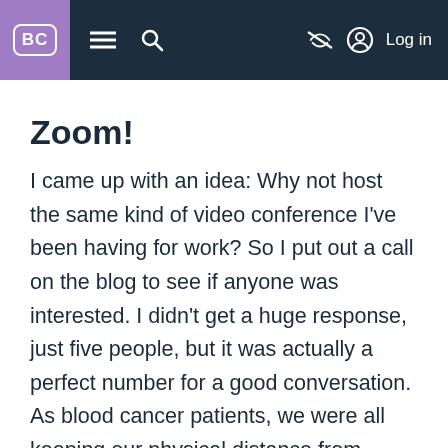BC | ≡ 🔍 [eye-slash] Log in
Zoom!
I came up with an idea: Why not host the same kind of video conference I've been having for work? So I put out a call on the blog to see if anyone was interested. I didn't get a huge response, just five people, but it was actually a perfect number for a good conversation. As blood cancer patients, we were all keeping our physical distance from